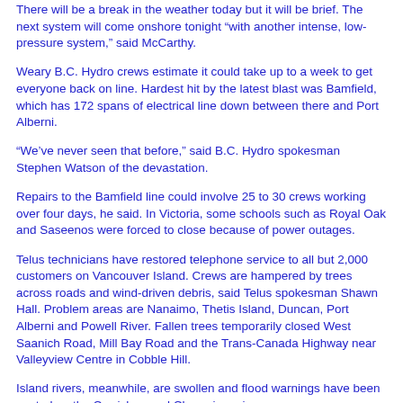There will be a break in the weather today but it will be brief. The next system will come onshore tonight "with another intense, low-pressure system," said McCarthy.
Weary B.C. Hydro crews estimate it could take up to a week to get everyone back on line. Hardest hit by the latest blast was Bamfield, which has 172 spans of electrical line down between there and Port Alberni.
"We've never seen that before," said B.C. Hydro spokesman Stephen Watson of the devastation.
Repairs to the Bamfield line could involve 25 to 30 crews working over four days, he said. In Victoria, some schools such as Royal Oak and Saseenos were forced to close because of power outages.
Telus technicians have restored telephone service to all but 2,000 customers on Vancouver Island. Crews are hampered by trees across roads and wind-driven debris, said Telus spokesman Shawn Hall. Problem areas are Nanaimo, Thetis Island, Duncan, Port Alberni and Powell River. Fallen trees temporarily closed West Saanich Road, Mill Bay Road and the Trans-Canada Highway near Valleyview Centre in Cobble Hill.
Island rivers, meanwhile, are swollen and flood warnings have been posted on the Cowichan and Chemainus rivers.
"Right now we've got a high stream-flow advisory out for the five rivers on the Island's east coast -- the Cowichan, Chemainus, Nanaimo, Englishman and the Tsolum," said Allan Chapman of the provincial river forecast centre yesterday.
The storms damaged dozens of coastal shellfish-farming operations and put some in jeopardy of bankruptcy, said the B.C. Shellfish Growers Association.